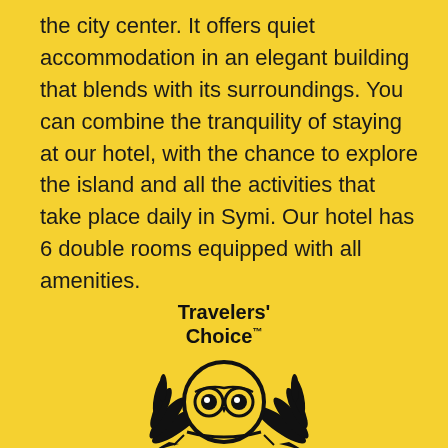the city center. It offers quiet accommodation in an elegant building that blends with its surroundings. You can combine the tranquility of staying at our hotel, with the chance to explore the island and all the activities that take place daily in Symi. Our hotel has 6 double rooms equipped with all amenities.
[Figure (logo): TripAdvisor Travelers' Choice 2020 award logo with owl face in circle surrounded by laurel wings and text 'Travelers' Choice' above and '2020' below]